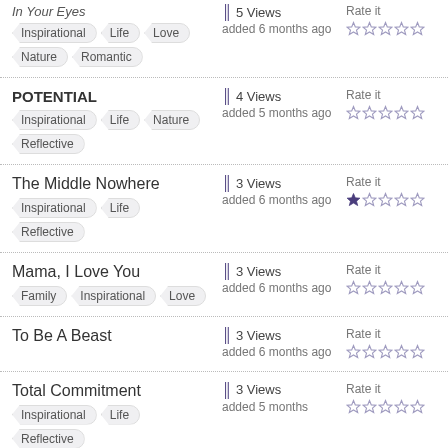In Your Eyes — Tags: Inspirational, Life, Love, Nature, Romantic — 5 Views, added 6 months ago, Rate it (0 stars)
POTENTIAL — Tags: Inspirational, Life, Nature, Reflective — 4 Views, added 5 months ago, Rate it (0 stars)
The Middle Nowhere — Tags: Inspirational, Life, Reflective — 3 Views, added 6 months ago, Rate it (1 star)
Mama, I Love You — Tags: Family, Inspirational, Love — 3 Views, added 6 months ago, Rate it (0 stars)
To Be A Beast — 3 Views, added 6 months ago, Rate it (0 stars)
Total Commitment — Tags: Inspirational, Life, Reflective — 3 Views, added 5 months ago, Rate it (0 stars)